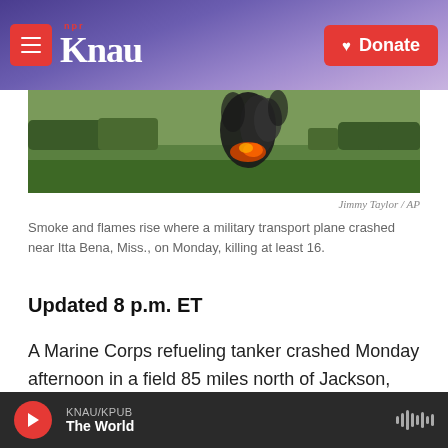KNAU / NPR - Donate
[Figure (photo): Smoke and flames rising from a crashed military transport plane in a field near Itta Bena, Mississippi]
Jimmy Taylor / AP
Smoke and flames rise where a military transport plane crashed near Itta Bena, Miss., on Monday, killing at least 16.
Updated 8 p.m. ET
A Marine Corps refueling tanker crashed Monday afternoon in a field 85 miles north of Jackson, Miss., killing all aboard, 15 Marines and one Navy sailor.
Six of the Marines and the Navy sailor were from
KNAU/KPUB - The World